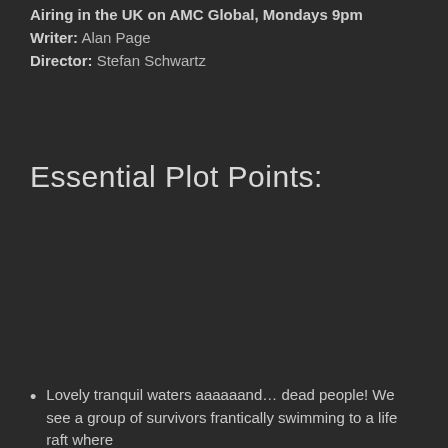Airing in the UK on AMC Global, Mondays 9pm
Writer: Alan Page
Director: Stefan Schwartz
Essential Plot Points:
Lovely tranquil waters aaaaaand… dead people! We see a group of survivors frantically swimming to a life raft where